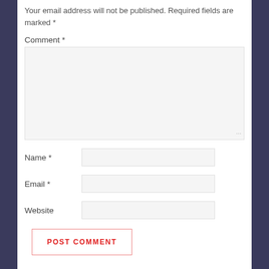Your email address will not be published. Required fields are marked *
Comment *
[Figure (other): Comment textarea input box]
Name *
Email *
Website
POST COMMENT